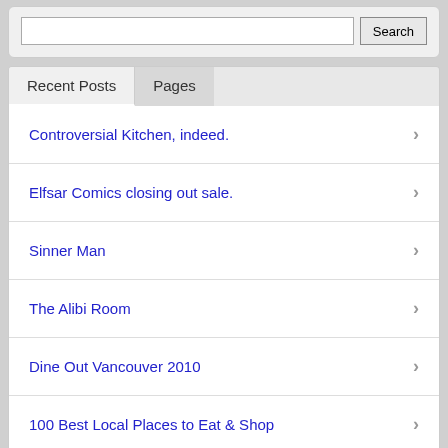[Figure (screenshot): Search input box with Search button]
Recent Posts
Pages
Controversial Kitchen, indeed.
Elfsar Comics closing out sale.
Sinner Man
The Alibi Room
Dine Out Vancouver 2010
100 Best Local Places to Eat & Shop
Langley Metblogs – Twilight Drive-in
Museum of Vancouver